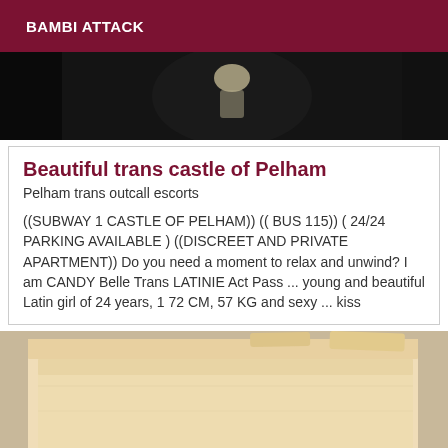BAMBI ATTACK
[Figure (photo): Dark photograph showing a partial figure or person against a very dark background]
Beautiful trans castle of Pelham
Pelham trans outcall escorts
((SUBWAY 1 CASTLE OF PELHAM)) (( BUS 115)) ( 24/24 PARKING AVAILABLE ) ((DISCREET AND PRIVATE APARTMENT)) Do you need a moment to relax and unwind? I am CANDY Belle Trans LATINIE Act Pass ... young and beautiful Latin girl of 24 years, 1 72 CM, 57 KG and sexy ... kiss
[Figure (photo): Photograph showing manila folders or paper documents with a beige/tan color against a light background, with a partial silhouette at the bottom right]